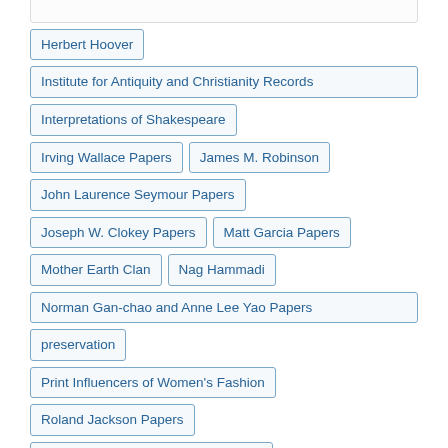Herbert Hoover
Institute for Antiquity and Christianity Records
Interpretations of Shakespeare
Irving Wallace Papers
James M. Robinson
John Laurence Seymour Papers
Joseph W. Clokey Papers
Matt Garcia Papers
Mother Earth Clan
Nag Hammadi
Norman Gan-chao and Anne Lee Yao Papers
preservation
Print Influencers of Women's Fashion
Roland Jackson Papers
Rundel Latin America Map Collection